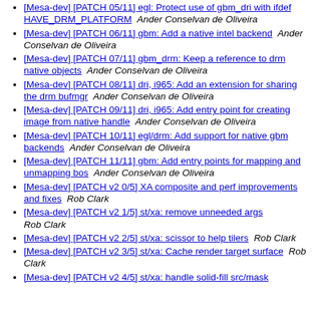[Mesa-dev] [PATCH 05/11] egl: Protect use of gbm_dri with ifdef HAVE_DRM_PLATFORM  Ander Conselvan de Oliveira
[Mesa-dev] [PATCH 06/11] gbm: Add a native intel backend  Ander Conselvan de Oliveira
[Mesa-dev] [PATCH 07/11] gbm_drm: Keep a reference to drm native objects  Ander Conselvan de Oliveira
[Mesa-dev] [PATCH 08/11] dri, i965: Add an extension for sharing the drm bufmgr  Ander Conselvan de Oliveira
[Mesa-dev] [PATCH 09/11] dri, i965: Add entry point for creating image from native handle  Ander Conselvan de Oliveira
[Mesa-dev] [PATCH 10/11] egl/drm: Add support for native gbm backends  Ander Conselvan de Oliveira
[Mesa-dev] [PATCH 11/11] gbm: Add entry points for mapping and unmapping bos  Ander Conselvan de Oliveira
[Mesa-dev] [PATCH v2 0/5] XA composite and perf improvements and fixes  Rob Clark
[Mesa-dev] [PATCH v2 1/5] st/xa: remove unneeded args  Rob Clark
[Mesa-dev] [PATCH v2 2/5] st/xa: scissor to help tilers  Rob Clark
[Mesa-dev] [PATCH v2 3/5] st/xa: Cache render target surface  Rob Clark
[Mesa-dev] [PATCH v2 4/5] st/xa: handle solid-fill src/mask